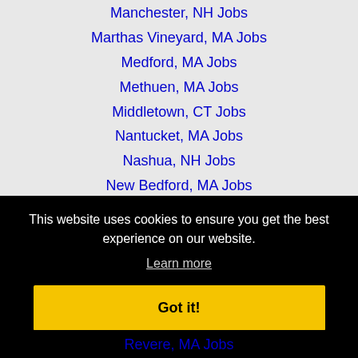Manchester, NH Jobs
Marthas Vineyard, MA Jobs
Medford, MA Jobs
Methuen, MA Jobs
Middletown, CT Jobs
Nantucket, MA Jobs
Nashua, NH Jobs
New Bedford, MA Jobs
New Britain, CT Jobs
Newton, MA Jobs
This website uses cookies to ensure you get the best experience on our website.
Learn more
Got it!
Revere, MA Jobs